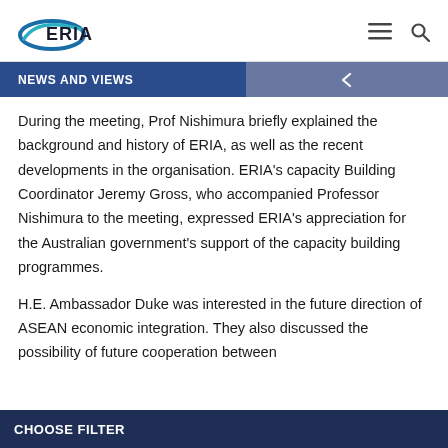[Figure (logo): ERIA logo with stylized blue oval shape and bold ERIA text]
NEWS AND VIEWS
During the meeting, Prof Nishimura briefly explained the background and history of ERIA, as well as the recent developments in the organisation. ERIA's capacity Building Coordinator Jeremy Gross, who accompanied Professor Nishimura to the meeting, expressed ERIA's appreciation for the Australian government's support of the capacity building programmes.
H.E. Ambassador Duke was interested in the future direction of ASEAN economic integration. They also discussed the possibility of future cooperation between
CHOOSE FILTER